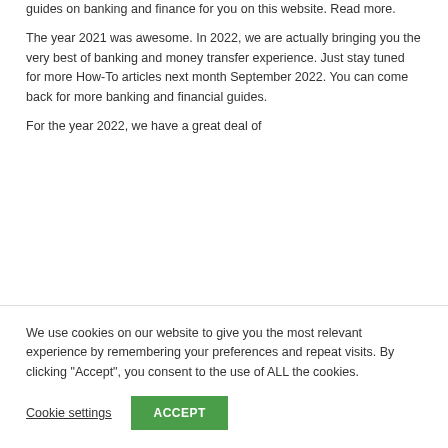guides on banking and finance for you on this website. Read more.
The year 2021 was awesome. In 2022, we are actually bringing you the very best of banking and money transfer experience. Just stay tuned for more How-To articles next month September 2022. You can come back for more banking and financial guides.
For the year 2022, we have a great deal of
We use cookies on our website to give you the most relevant experience by remembering your preferences and repeat visits. By clicking "Accept", you consent to the use of ALL the cookies.
Cookie settings
ACCEPT